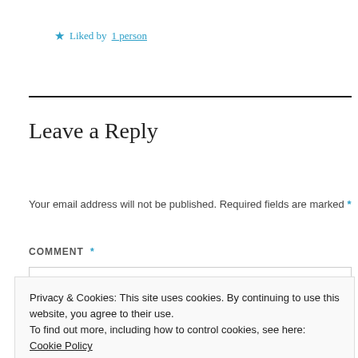★ Liked by 1 person
Leave a Reply
Your email address will not be published. Required fields are marked *
COMMENT *
Privacy & Cookies: This site uses cookies. By continuing to use this website, you agree to their use. To find out more, including how to control cookies, see here: Cookie Policy
Close and accept